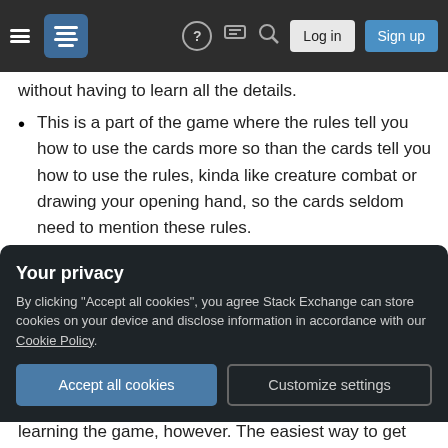Navigation bar with hamburger menu, Stack Exchange logo, help, chat, search icons, Log in and Sign up buttons
without having to learn all the details.
This is a part of the game where the rules tell you how to use the cards more so than the cards tell you how to use the rules, kinda like creature combat or drawing your opening hand, so the cards seldom need to mention these rules.
The architecture for casting spells and activating abilities is so foundational to the game that a mechanic that mucks with the process is likely to be very risky and
Your privacy
By clicking "Accept all cookies", you agree Stack Exchange can store cookies on your device and disclose information in accordance with our Cookie Policy.
Accept all cookies   Customize settings
learning the game, however. The easiest way to get